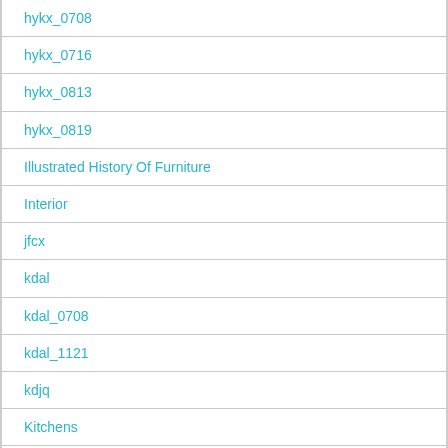hykx_0708
hykx_0716
hykx_0813
hykx_0819
Illustrated History Of Furniture
Interior
jfcx
kdal
kdal_0708
kdal_1121
kdjq
Kitchens
Lamps. Lighting devices
Landscape Design Park
LANDSCAPE PLANNING